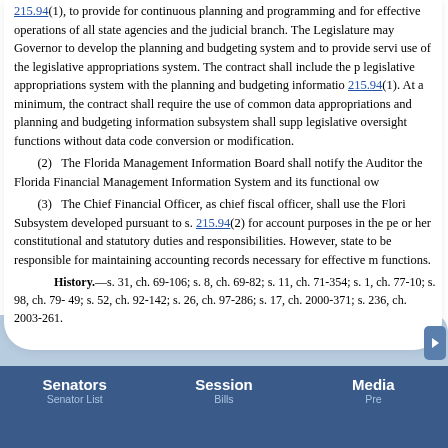215.94(1), to provide for continuous planning and programming and for effective operations of all state agencies and the judicial branch. The Legislature may contract with the Governor to develop the planning and budgeting system and to provide services relating to the use of the legislative appropriations system. The contract shall include the potential interface of the legislative appropriations system with the planning and budgeting information subsystem pursuant to s. 215.94(1). At a minimum, the contract shall require the use of common data so that the appropriations and planning and budgeting information subsystem shall support the legislative oversight functions without data code conversion or modification.
(2) The Florida Management Information Board shall notify the Auditor General of the Florida Financial Management Information System and its functional owners.
(3) The Chief Financial Officer, as chief fiscal officer, shall use the Florida Accounting Subsystem developed pursuant to s. 215.94(2) for account purposes in the performance of his or her constitutional and statutory duties and responsibilities. However, state agencies continue to be responsible for maintaining accounting records necessary for effective management control functions.
History.—s. 31, ch. 69-106; s. 8, ch. 69-82; s. 11, ch. 71-354; s. 1, ch. 77-10; s. 98, ch. 79-190; s. 2, ch. 80-49; s. 52, ch. 92-142; s. 26, ch. 97-286; s. 17, ch. 2000-371; s. 236, ch. 2003-261.
Senators | Session | Media